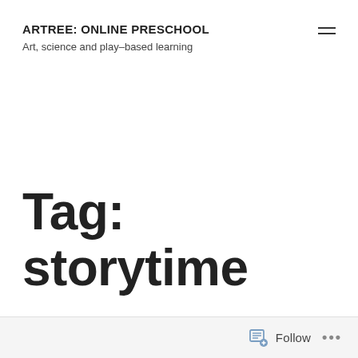ARTREE: ONLINE PRESCHOOL
Art, science and play-based learning
Tag: storytime
Follow ...